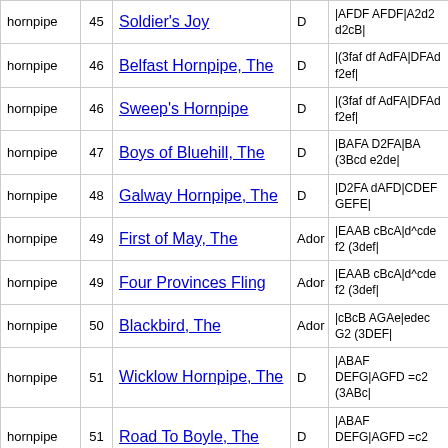| type | # | title | key | abc |
| --- | --- | --- | --- | --- |
| hornpipe | 45 | Soldier's Joy | D | |AFDF AFDF|A2d2 d2cB| |
| hornpipe | 46 | Belfast Hornpipe, The | D | |(3faf df AdFA|DFAd f2ef| |
| hornpipe | 46 | Sweep's Hornpipe | D | |(3faf df AdFA|DFAd f2ef| |
| hornpipe | 47 | Boys of Bluehill, The | D | |BAFA D2FA|BA (3Bcd e2de| |
| hornpipe | 48 | Galway Hornpipe, The | D | |D2FA dAFD|CDEF GEFE| |
| hornpipe | 49 | First of May, The | Ador | |EAAB cBcA|d^cde f2 (3def| |
| hornpipe | 49 | Four Provinces Fling | Ador | |EAAB cBcA|d^cde f2 (3def| |
| hornpipe | 50 | Blackbird, The | Ador | |cBcB AGAe|edec G2 (3DEF| |
| hornpipe | 51 | Wicklow Hornpipe, The | D | |ABAF DEFG|AGFD =c2 (3ABc| |
| hornpipe | 51 | Road To Boyle, The | D | |ABAF DEFG|AGFD =c2 (3ABc| |
| hornpipe | 51 | Homebrew Hornpipe, The | D | |ABAF DEFG|AGFD =c2 (3ABc| |
| hornpipe | 52 | Murphy's Hornpipe | G | |GABG EFGE|ABcA FGAF| |
| hornpipe | 53 | Byrne's Hornpipe | D | |F2GE AFD2|dA (3Bcd |